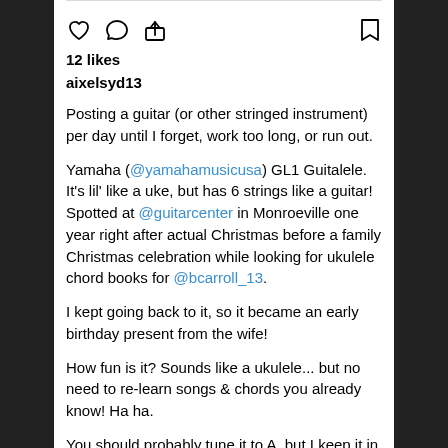[Figure (other): Instagram action icons row: heart (like), comment bubble, share/upload arrow on left; bookmark on right]
12 likes
aixelsyd13
Posting a guitar (or other stringed instrument) per day until I forget, work too long, or run out.

Yamaha (@yamahamusicusa) GL1 Guitalele. It's lil' like a uke, but has 6 strings like a guitar!
Spotted at @guitarcenter in Monroeville one year right after actual Christmas before a family Christmas celebration while looking for ukulele chord books for @bcarroll_13.

I kept going back to it, so it became an early birthday present from the wife!

How fun is it? Sounds like a ukulele... but no need to re-learn songs & chords you already know! Ha ha.

You should probably tune it to A, but I keep it in E. It would be great to layer on recordings... sounds fun playing along with ukes, guitars, or whatever else